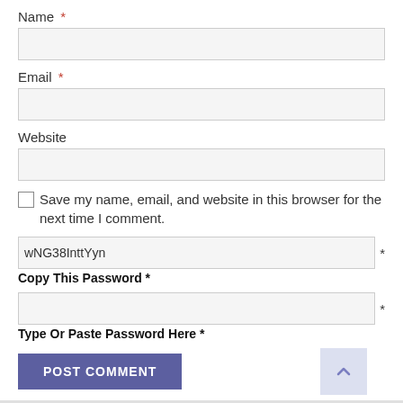Name *
Email *
Website
Save my name, email, and website in this browser for the next time I comment.
wNG38InttYyn  *
Copy This Password *
Type Or Paste Password Here *
POST COMMENT
VIDEO OF THE WEEK